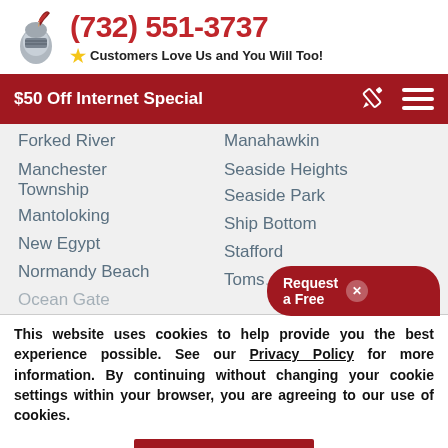(732) 551-3737 — Customers Love Us and You Will Too!
$50 Off Internet Special
Forked River
Manahawkin
Manchester Township
Seaside Heights
Seaside Park
Mantoloking
Ship Bottom
New Egypt
Stafford
Normandy Beach
Toms...
This website uses cookies to help provide you the best experience possible. See our Privacy Policy for more information. By continuing without changing your cookie settings within your browser, you are agreeing to our use of cookies.
ACCEPT